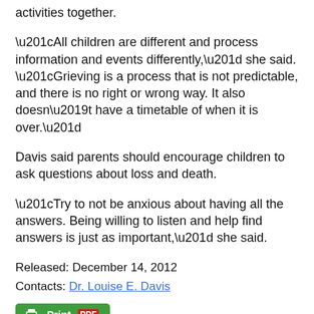activities together.
“All children are different and process information and events differently,” she said. “Grieving is a process that is not predictable, and there is no right or wrong way. It also doesn’t have a timetable of when it is over.”
Davis said parents should encourage children to ask questions about loss and death.
“Try to not be anxious about having all the answers. Being willing to listen and help find answers is just as important,” she said.
Released: December 14, 2012
Contacts: Dr. Louise E. Davis
News Story Contact
Dr. Louise E. Davis